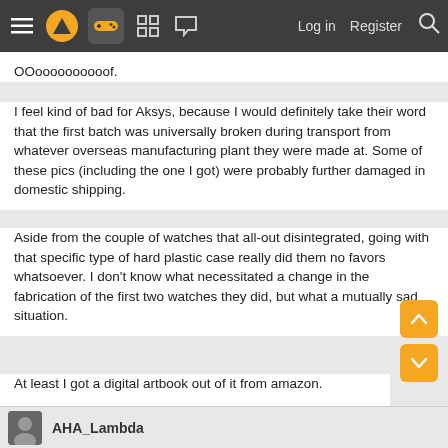[Figure (screenshot): Website navigation bar with hamburger menu, logo, gamepad icon (highlighted), grid icon, chat icon, and Log in / Register / Search links on dark gray background]
OOoooooooooof.
I feel kind of bad for Aksys, because I would definitely take their word that the first batch was universally broken during transport from whatever overseas manufacturing plant they were made at. Some of these pics (including the one I got) were probably further damaged in domestic shipping.
Aside from the couple of watches that all-out disintegrated, going with that specific type of hard plastic case really did them no favors whatsoever. I don't know what necessitated a change in the fabrication of the first two watches they did, but what a mutually sad situation.
At least I got a digital artbook out of it from amazon.
AHA_Lambda